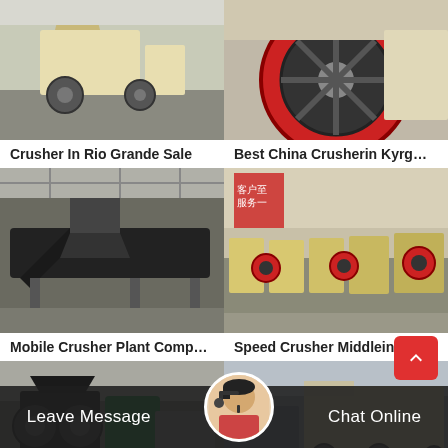[Figure (photo): Jaw crusher machine in industrial warehouse, beige/yellow colored, side view]
[Figure (photo): Close-up of a red and black flywheel of a jaw crusher]
Crusher In Rio Grande Sale
Best China Crusherin Kyrg…
[Figure (photo): Mobile crusher plant with conveyor belts in a large factory hall]
[Figure (photo): Row of yellow jaw crushers lined up in a warehouse with Chinese signage]
Mobile Crusher Plant Comp…
Speed Crusher Middlein Uz…
[Figure (photo): Double roller crusher machine with green motor in industrial setting]
[Figure (photo): Large industrial crusher or screening machine in warehouse]
[Figure (photo): Customer service representative avatar with headset]
Leave Message
Chat Online